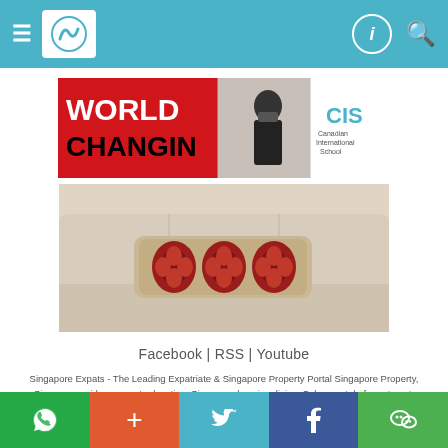Singapore Expats navigation bar with hamburger menu, logo, profile icon, search icon
[Figure (photo): Advertisement banner: red background with 'WORLD CHANGING' text, masked person writing on glass, CIS Canadian International School logo on right]
[Figure (photo): Property interior photo showing a cream sofa with a decorative red and beige floral cushion/bolster]
Facebook | RSS | Youtube
Singapore Expats - The Leading Expatriate & Singapore Property Portal Singapore Property, Singapore guide on expat relocation, Singapore housing, living. Sales, rental of apartment, Singapore condo, house, HDB flat. Copyright © 2002 to 2022 SingaporeExpats.com Pte Ltd, All Rights Reserved. Terms and Conditions of Use.
Social share bar: WhatsApp, Plus, Twitter, Facebook, WeChat